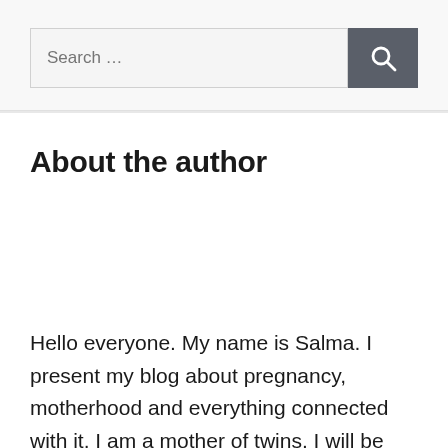Search …
About the author
Hello everyone. My name is Salma. I present my blog about pregnancy, motherhood and everything connected with it. I am a mother of twins. I will be glad to share my experience and knowledge with you. Join it